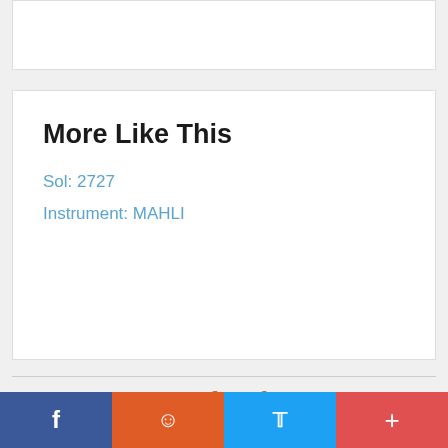[Figure (other): Empty white box at top of page]
More Like This
Sol: 2727
Instrument: MAHLI
Related
[Figure (photo): Photo of Mars rover wheel on Martian surface, close-up showing tread pattern on rocky terrain]
[Figure (photo): Partial view of another Mars surface image on the right edge]